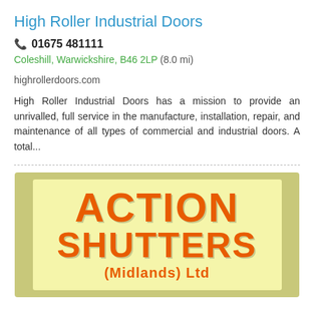High Roller Industrial Doors
📞 01675 481111
Coleshill, Warwickshire, B46 2LP (8.0 mi)
highrollerdoors.com
High Roller Industrial Doors has a mission to provide an unrivalled, full service in the manufacture, installation, repair, and maintenance of all types of commercial and industrial doors. A total...
[Figure (logo): Action Shutters (Midlands) Ltd logo — olive/yellow-green background with a lighter yellow inner rectangle. Large bold orange text reads 'ACTION' on top, 'SHUTTERS' below, and '(Midlands) Ltd' in smaller bold orange text at the bottom.]